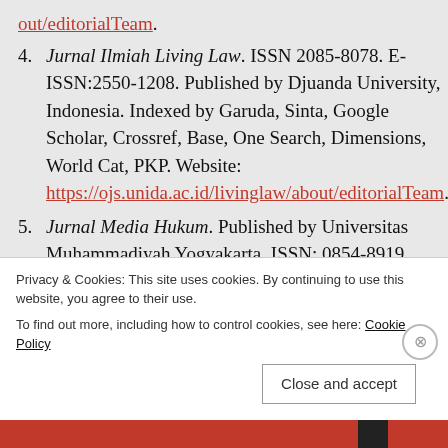out/editorialTeam. (link, item 3 continuation)
4. Jurnal Ilmiah Living Law. ISSN 2085-8078. E-ISSN:2550-1208. Published by Djuanda University, Indonesia. Indexed by Garuda, Sinta, Google Scholar, Crossref, Base, One Search, Dimensions, World Cat, PKP. Website: https://ojs.unida.ac.id/livinglaw/about/editorialTeam.
5. Jurnal Media Hukum. Published by Universitas Muhammadiyah Yogyakarta. ISSN: 0854-8919. E-ISSN: 2503-1023. Indexed in: Sinta, DOAJ, Garuda, Google Scholar, Dimensions, Crossref.
Privacy & Cookies: This site uses cookies. By continuing to use this website, you agree to their use. To find out more, including how to control cookies, see here: Cookie Policy